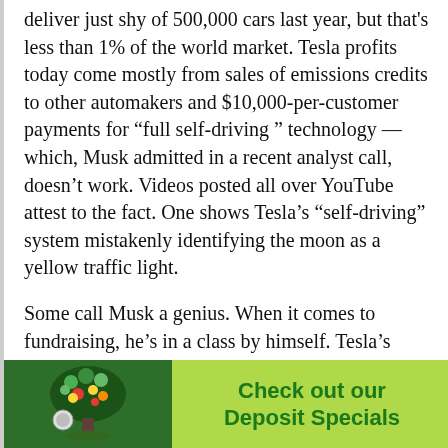deliver just shy of 500,000 cars last year, but that's less than 1% of the world market. Tesla profits today come mostly from sales of emissions credits to other automakers and $10,000-per-customer payments for “full self-driving” technology — which, Musk admitted in a recent analyst call, doesn’t work. Videos posted all over YouTube attest to the fact. One shows Tesla’s “self-driving” system mistakenly identifying the moon as a yellow traffic light.
Some call Musk a genius. When it comes to fundraising, he’s in a class by himself. Tesla’s skirted bankruptcy at least twice. The company would not be alive today without continued infusions of debt and equity. The longest-running bull market in U.S. history has helped. S close inve fash
[Figure (infographic): Advertisement banner with a tree logo on green background on the left and 'Check out our Deposit Specials' text on lime green background on the right. A 'close' label appears at the top right of the ad overlay.]